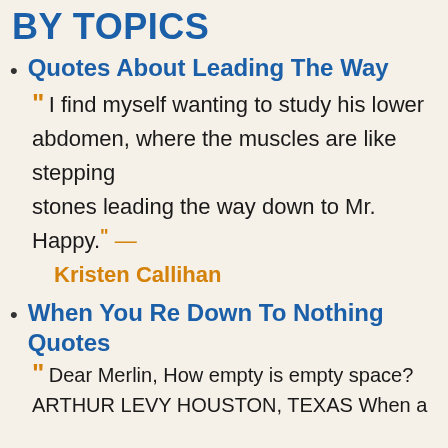BY TOPICS
Quotes About Leading The Way
“I find myself wanting to study his lower abdomen, where the muscles are like stepping stones leading the way down to Mr. Happy.” — Kristen Callihan
When You Re Down To Nothing Quotes
“Dear Merlin, How empty is empty space? ARTHUR LEVY HOUSTON, TEXAS When a